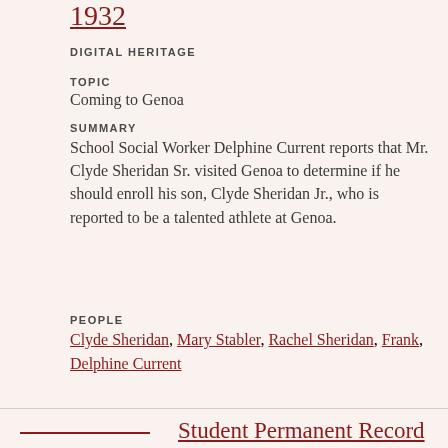1932
DIGITAL HERITAGE
TOPIC
Coming to Genoa
SUMMARY
School Social Worker Delphine Current reports that Mr. Clyde Sheridan Sr. visited Genoa to determine if he should enroll his son, Clyde Sheridan Jr., who is reported to be a talented athlete at Genoa.
PEOPLE
Clyde Sheridan, Mary Stabler, Rachel Sheridan, Frank, Delphine Current
Student Permanent Record